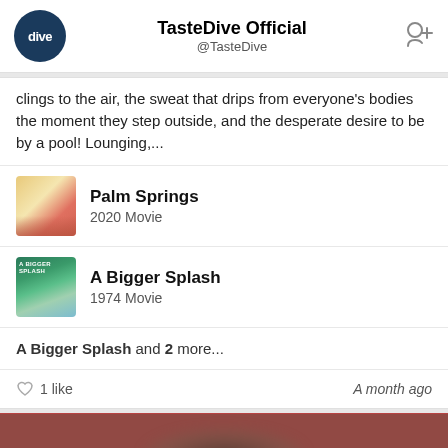TasteDive Official @TasteDive
clings to the air, the sweat that drips from everyone's bodies the moment they step outside, and the desperate desire to be by a pool! Lounging,...
Palm Springs 2020 Movie
A Bigger Splash 1974 Movie
A Bigger Splash and 2 more...
1 like   A month ago
[Figure (screenshot): Partially visible image card for 'Labor of Love: Sex Work on Film' with a reddish-pink background and blurred dark overlay at top. White bold text reads 'Labor of Love: Sex Work on Film'.]